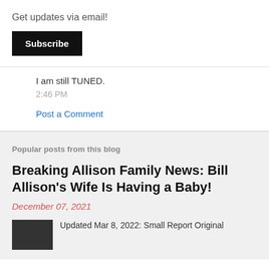Get updates via email!
Subscribe
I am still TUNED.
2:46 PM
Post a Comment
Popular posts from this blog
Breaking Allison Family News: Bill Allison's Wife Is Having a Baby!
December 07, 2021
Updated Mar 8, 2022: Small Report Original